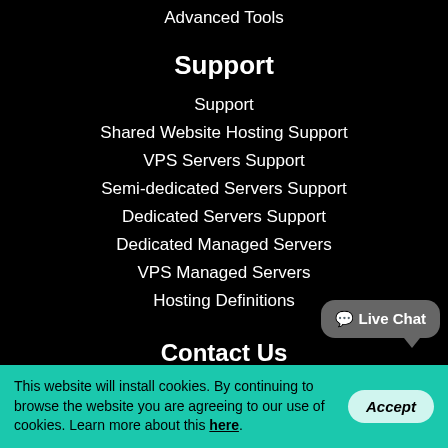Advanced Tools
Support
Support
Shared Website Hosting Support
VPS Servers Support
Semi-dedicated Servers Support
Dedicated Servers Support
Dedicated Managed Servers
VPS Managed Servers
Hosting Definitions
Contact Us
Our ID: 143349
US: +1-855-211-0932
US: +1-727-546-HOST(4678)
Live Chat
This website will install cookies. By continuing to browse the website you are agreeing to our use of cookies. Learn more about this here.